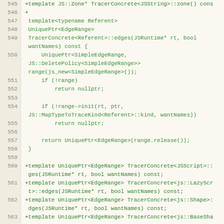[Figure (screenshot): Source code diff view showing C++ template function implementations for TracerConcrete class, lines 545-563, with green added lines on a cream background.]